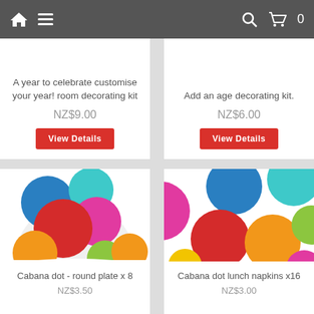Navigation bar with home, menu, search, and cart icons
A year to celebrate customise your year! room decorating kit
NZ$9.00
View Details
Add an age decorating kit.
NZ$6.00
View Details
[Figure (photo): Colorful polka dot round plates stacked, showing blue, cyan, pink, red, orange, lime green circles on white background]
Cabana dot - round plate x 8
NZ$3.50
[Figure (photo): Colorful polka dot lunch napkins showing pink, blue, cyan, red, orange, lime green circles on white background]
Cabana dot lunch napkins x16
NZ$3.00